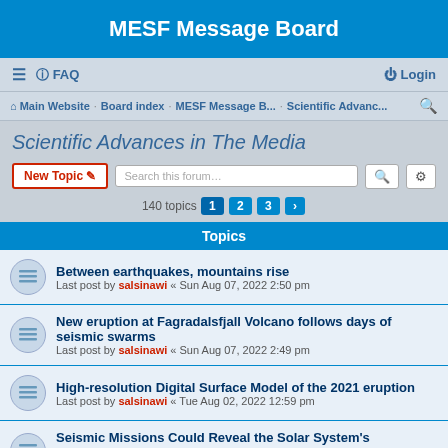MESF Message Board
≡  FAQ  Login
Main Website · Board index · MESF Message B... · Scientific Advanc...
Scientific Advances in The Media
New Topic  Search this forum…  140 topics  1  2  3  >
Topics
Between earthquakes, mountains rise
Last post by salsinawi « Sun Aug 07, 2022 2:50 pm
New eruption at Fagradalsfjall Volcano follows days of seismic swarms
Last post by salsinawi « Sun Aug 07, 2022 2:49 pm
High-resolution Digital Surface Model of the 2021 eruption
Last post by salsinawi « Tue Aug 02, 2022 12:59 pm
Seismic Missions Could Reveal the Solar System's Underworlds
Last post by salsinawi « Tue Aug 02, 2022 12:56 pm